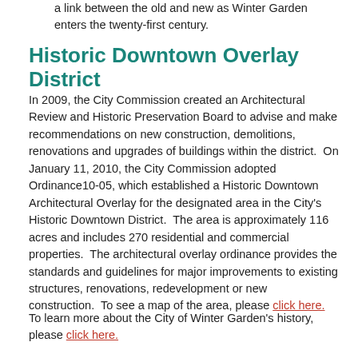a link between the old and new as Winter Garden enters the twenty-first century.
Historic Downtown Overlay District
In 2009, the City Commission created an Architectural Review and Historic Preservation Board to advise and make recommendations on new construction, demolitions, renovations and upgrades of buildings within the district.  On January 11, 2010, the City Commission adopted Ordinance10-05, which established a Historic Downtown Architectural Overlay for the designated area in the City's Historic Downtown District.  The area is approximately 116 acres and includes 270 residential and commercial properties.  The architectural overlay ordinance provides the standards and guidelines for major improvements to existing structures, renovations, redevelopment or new construction.  To see a map of the area, please click here.
To learn more about the City of Winter Garden's history, please click here.